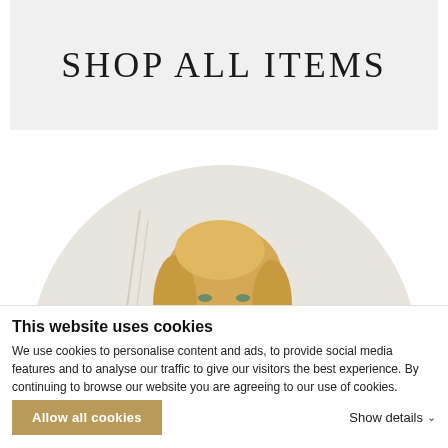SHOP ALL ITEMS
[Figure (photo): A smiling blonde woman photographed from approximately the shoulders up, shown inside a large circular light-colored frame/background. Partial view — top half of circle visible. Light, neutral interior setting.]
This website uses cookies
We use cookies to personalise content and ads, to provide social media features and to analyse our traffic to give our visitors the best experience. By continuing to browse our website you are agreeing to our use of cookies.
Allow all cookies
Show details